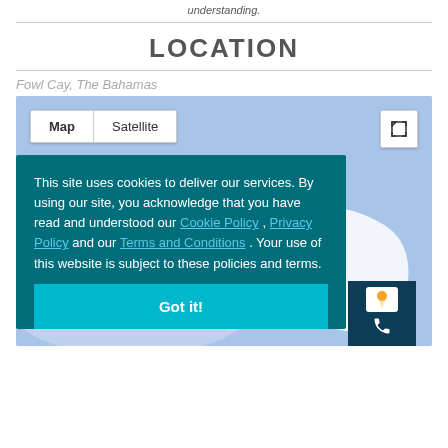understanding.
LOCATION
Fowl Cay, The Bahamas
[Figure (map): Google Maps embedded map showing Fowl Cay, The Bahamas with Map/Satellite toggle and fullscreen button. Light blue water background with white land shapes.]
This site uses cookies to deliver our services. By using our site, you acknowledge that you have read and understood our Cookie Policy , Privacy Policy and our Terms and Conditions . Your use of this website is subject to these policies and terms.
Got it!